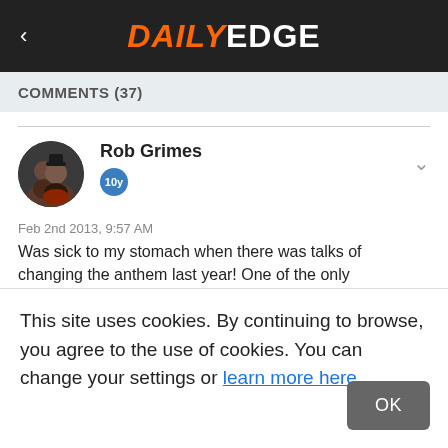DAILY EDGE
COMMENTS (37)
Rob Grimes
10y
Feb 2nd 2013, 9:57 AM
Was sick to my stomach when there was talks of changing the anthem last year! One of the only
This site uses cookies. By continuing to browse, you agree to the use of cookies. You can change your settings or learn more here.